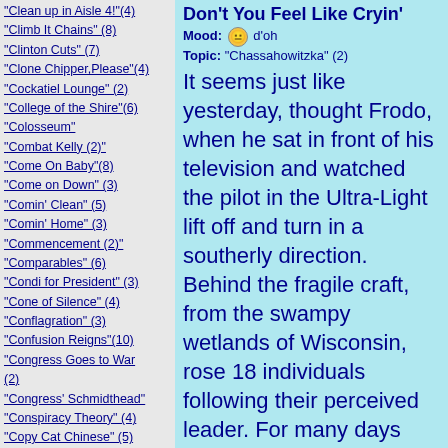"Clean up in Aisle 4!"(4)
"Climb It Chains" (8)
"Clinton Cuts" (7)
"Clone Chipper,Please"(4)
"Cockatiel Lounge" (2)
"College of the Shire"(6)
"Colosseum"
"Combat Kelly (2)"
"Come On Baby"(8)
"Come on Down" (3)
"Comin' Clean" (5)
"Comin' Home" (3)
"Commencement (2)"
"Comparables" (6)
"Condi for President" (3)
"Cone of Silence" (4)
"Conflagration" (3)
"Confusion Reigns"(10)
"Congress Goes to War (2)
"Congress' Schmidthead"
"Conspiracy Theory" (4)
"Copy Cat Chinese" (5)
"Country Roads" (7)
"Crawford Convention" (2)
"Crikey" (2)
"Crime and Punishment(2)"
Don't You Feel Like Cryin'
Mood: d'oh
Topic: "Chassahowitzka" (2)
It seems just like yesterday, thought Frodo, when he sat in front of his television and watched the pilot in the Ultra-Light lift off and turn in a southerly direction. Behind the fragile craft, from the swampy wetlands of Wisconsin, rose 18 individuals following their perceived leader. For many days and nights the young Whooping Cranes would trail after the faux leader who would lead them on their first migration to their winter feeding grounds in Florida. Once this initial trip was completed, the young pilots